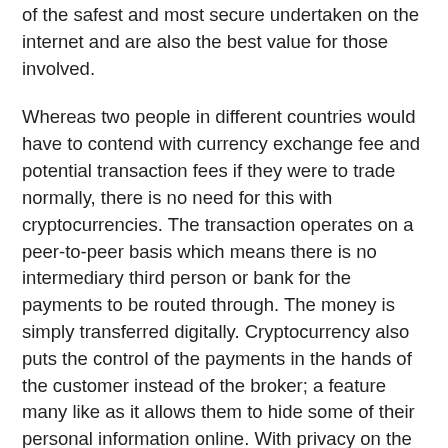of the safest and most secure undertaken on the internet and are also the best value for those involved.
Whereas two people in different countries would have to contend with currency exchange fee and potential transaction fees if they were to trade normally, there is no need for this with cryptocurrencies. The transaction operates on a peer-to-peer basis which means there is no intermediary third person or bank for the payments to be routed through. The money is simply transferred digitally. Cryptocurrency also puts the control of the payments in the hands of the customer instead of the broker; a feature many like as it allows them to hide some of their personal information online. With privacy on the internet being one of the biggest issues and discussions we currently face, this is a feature of cryptocurrency many are interested in.